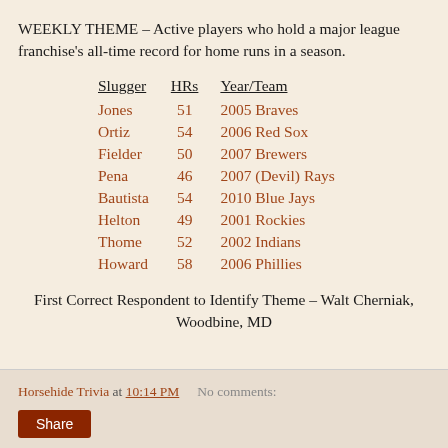WEEKLY THEME – Active players who hold a major league franchise's all-time record for home runs in a season.
| Slugger | HRs | Year/Team |
| --- | --- | --- |
| Jones | 51 | 2005 Braves |
| Ortiz | 54 | 2006 Red Sox |
| Fielder | 50 | 2007 Brewers |
| Pena | 46 | 2007 (Devil) Rays |
| Bautista | 54 | 2010 Blue Jays |
| Helton | 49 | 2001 Rockies |
| Thome | 52 | 2002 Indians |
| Howard | 58 | 2006 Phillies |
First Correct Respondent to Identify Theme – Walt Cherniak, Woodbine, MD
Horsehide Trivia at 10:14 PM   No comments: